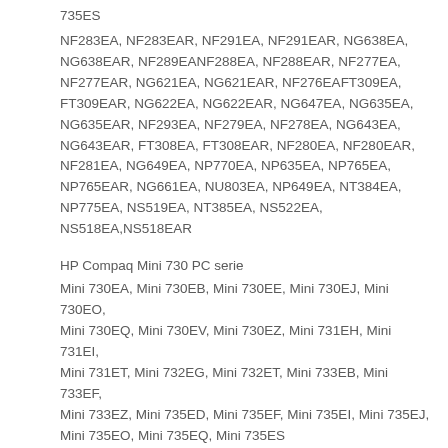735ES
NF283EA, NF283EAR, NF291EA, NF291EAR, NG638EA, NG638EAR, NF289EANF288EA, NF288EAR, NF277EA, NF277EAR, NG621EA, NG621EAR, NF276EAFT309EA, FT309EAR, NG622EA, NG622EAR, NG647EA, NG635EA, NG635EAR, NF293EA, NF279EA, NF278EA, NG643EA, NG643EAR, FT308EA, FT308EAR, NF280EA, NF280EAR, NF281EA, NG649EA, NP770EA, NP635EA, NP765EA, NP765EAR, NG661EA, NU803EA, NP649EA, NT384EA, NP775EA, NS519EA, NT385EA, NS522EA, NS518EA,NS518EAR
HP Compaq Mini 730 PC serie
Mini 730EA, Mini 730EB, Mini 730EE, Mini 730EJ, Mini 730EO, Mini 730EQ, Mini 730EV, Mini 730EZ, Mini 731EH, Mini 731EI, Mini 731ET, Mini 732EG, Mini 732ET, Mini 733EB, Mini 733EF, Mini 733EZ, Mini 735ED, Mini 735EF, Mini 735EI, Mini 735EJ, Mini 735EO, Mini 735EQ, Mini 735ES
HP Mini 110-1000 PC serie
1001TU, 1001XX, 1002TU, 1002XX, 1003TU, 1004TU, 1005TU, 1006TU, 1007TU, 1008TU, 1009TU, 1010LA